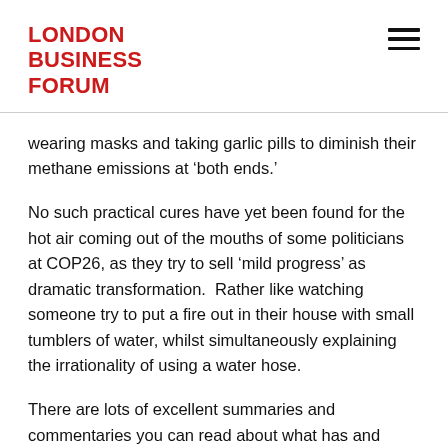LONDON BUSINESS FORUM
wearing masks and taking garlic pills to diminish their methane emissions at ‘both ends.’
No such practical cures have yet been found for the hot air coming out of the mouths of some politicians at COP26, as they try to sell ‘mild progress’ as dramatic transformation.  Rather like watching someone try to put a fire out in their house with small tumblers of water, whilst simultaneously explaining the irrationality of using a water hose.
There are lots of excellent summaries and commentaries you can read about what has and